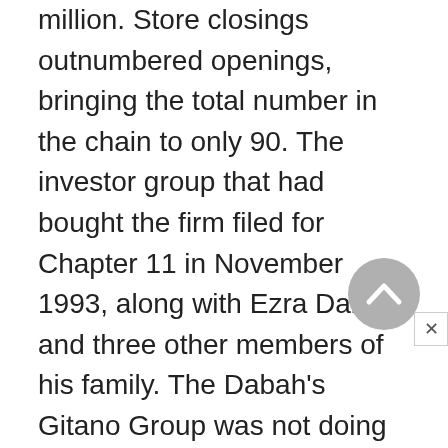million. Store closings outnumbered openings, bringing the total number in the chain to only 90. The investor group that had bought the firm filed for Chapter 11 in November 1993, along with Ezra Dabah and three other members of his family. The Dabah's Gitano Group was not doing well, either. It filed for bankruptcy in 1994. The Children's Place had trouble meeting its payments, and finally agreed in 1993 to an out-of-court settlement restructuring its debts. This